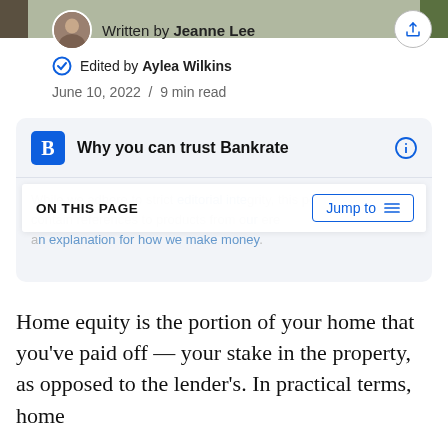Written by Jeanne Lee
Edited by Aylea Wilkins
June 10, 2022 / 9 min read
Why you can trust Bankrate
While we adhere to strict editorial integrity, this post may contain references to products from our partners. Here's an explanation for how we make money.
ON THIS PAGE
Jump to
Home equity is the portion of your home that you've paid off — your stake in the property, as opposed to the lender's. In practical terms, home